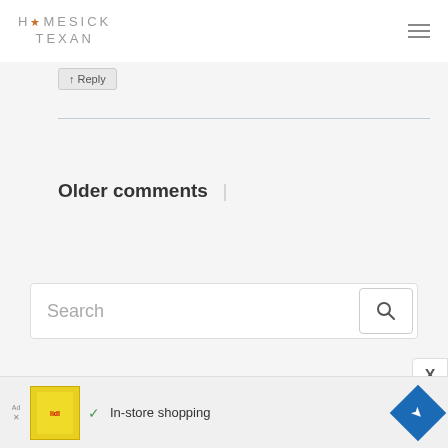HOMESICK TEXAN
↑ Reply
[Figure (screenshot): Horizontal divider line]
Older comments |
[Figure (screenshot): Search input field with magnifying glass icon]
[Figure (screenshot): Advertisement banner: Lidl in-store shopping ad with yellow image, checkmark, text 'In-store shopping', and blue diamond navigation icon]